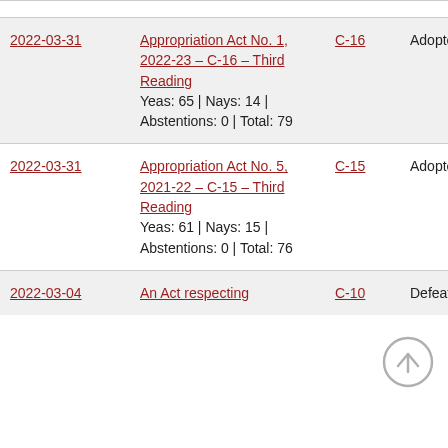| Date | Description | Bill | Result |  |
| --- | --- | --- | --- | --- |
| 2022-03-31 | Appropriation Act No. 1, 2022-23 – C-16 – Third Reading
Yeas: 65 | Nays: 14 | Abstentions: 0 | Total: 79 | C-16 | Adopted |  |
| 2022-03-31 | Appropriation Act No. 5, 2021-22 – C-15 – Third Reading
Yeas: 61 | Nays: 15 | Abstentions: 0 | Total: 76 | C-15 | Adopted |  |
| 2022-03-04 | An Act respecting | C-10 | Defeated |  |